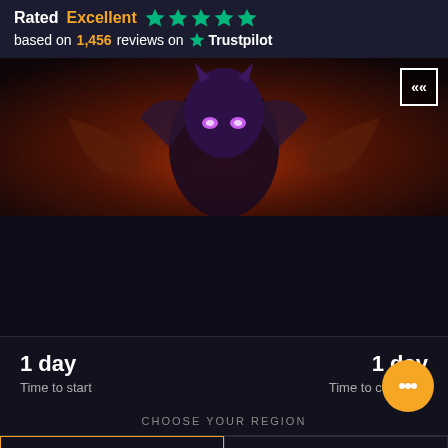Rated Excellent ★★★★★ based on 1,456 reviews on Trustpilot
[Figure (screenshot): Dark fantasy game character with purple mask/helmet and glowing pink eyes against a red fiery background, with a back navigation button in the top-right corner]
1 day - Time to start | 1 day - Time to complete
CHOOSE YOUR REGION
EU SERVERS | US SERVERS
Combatant's Set